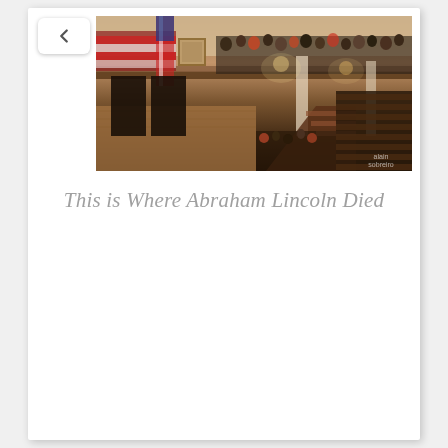[Figure (photo): Interior of Ford's Theatre showing the auditorium with rows of seats filled with audience members, balcony level with American flag bunting decorations and a portrait, wooden stage area, staircases, and warm interior lighting.]
This is Where Abraham Lincoln Died